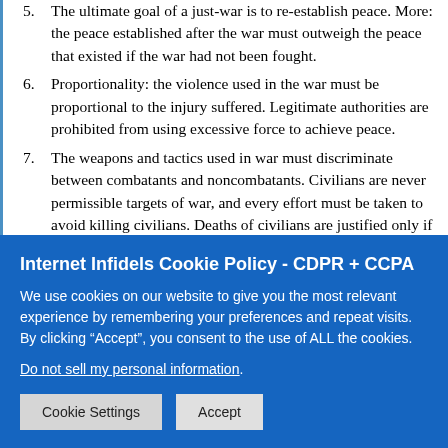5. The ultimate goal of a just-war is to re-establish peace. More: the peace established after the war must outweigh the peace that existed if the war had not been fought.
6. Proportionality: the violence used in the war must be proportional to the injury suffered. Legitimate authorities are prohibited from using excessive force to achieve peace.
7. The weapons and tactics used in war must discriminate between combatants and noncombatants. Civilians are never permissible targets of war, and every effort must be taken to avoid killing civilians. Deaths of civilians are justified only if they are unavoidable victims of a deliberate attack on a military target.
As I alluded to earlier, proponents of the just-war tradition believe t...
Internet Infidels Cookie Policy - CDPR + CCPA
We use cookies on our website to give you the most relevant experience by remembering your preferences and repeat visits. By clicking “Accept”, you consent to the use of ALL the cookies.
Do not sell my personal information.